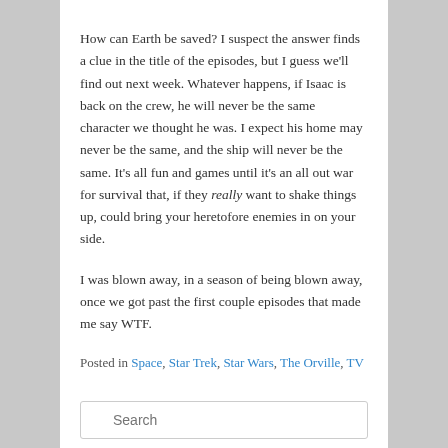How can Earth be saved? I suspect the answer finds a clue in the title of the episodes, but I guess we'll find out next week. Whatever happens, if Isaac is back on the crew, he will never be the same character we thought he was. I expect his home may never be the same, and the ship will never be the same. It's all fun and games until it's an all out war for survival that, if they really want to shake things up, could bring your heretofore enemies in on your side.

I was blown away, in a season of being blown away, once we got past the first couple episodes that made me say WTF.
Posted in Space, Star Trek, Star Wars, The Orville, TV
Search
RECENT POSTS